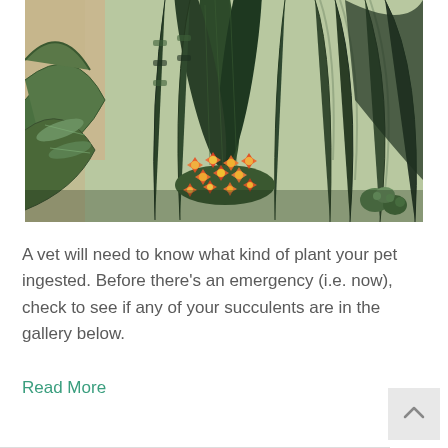[Figure (photo): A photograph of various succulent plants including snake plants with green patterned leaves and small orange/red kalanchoe flowers in the center, against a beige burlap-like background.]
A vet will need to know what kind of plant your pet ingested. Before there's an emergency (i.e. now), check to see if any of your succulents are in the gallery below.
Read More